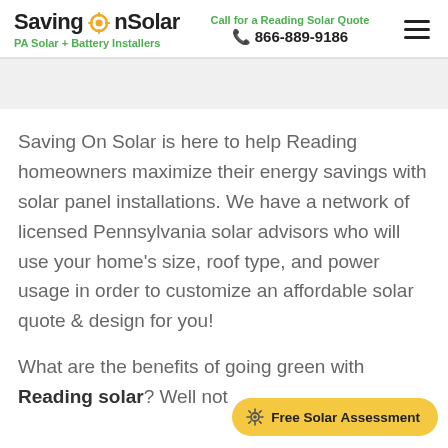SavingOnSolar — PA Solar + Battery Installers | Call for a Reading Solar Quote 866-889-9186
Saving On Solar is here to help Reading homeowners maximize their energy savings with solar panel installations. We have a network of licensed Pennsylvania solar advisors who will use your home's size, roof type, and power usage in order to customize an affordable solar quote & design for you!
What are the benefits of going green with Reading solar? Well not
Free Solar Assessment